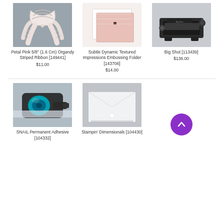[Figure (photo): Petal Pink 5/8" organdy striped ribbon tied in a bow on grey background]
Petal Pink 5/8" (1.6 Cm) Organdy Striped Ribbon [149441]
$11.00
[Figure (photo): Subtle Dynamic Textured Impressions Embossing Folder - two sheets, white and pink, on white background]
Subtle Dynamic Textured Impressions Embossing Folder [143706]
$14.00
[Figure (photo): Big Shot die cutting machine in black on grey background]
Big Shot [113439]
$136.00
[Figure (photo): SNAIL Permanent Adhesive tape runner on grey background]
SNAIL Permanent Adhesive [104332]
[Figure (photo): Stampin' Dimensionals adhesive dots on grey background]
Stampin' Dimensionals [104430]